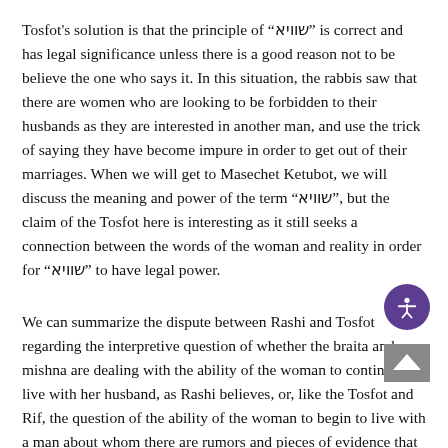Tosfot's solution is that the principle of "שוויא" is correct and has legal significance unless there is a good reason not to be believe the one who says it. In this situation, the rabbis saw that there are women who are looking to be forbidden to their husbands as they are interested in another man, and use the trick of saying they have become impure in order to get out of their marriages. When we will get to Masechet Ketubot, we will discuss the meaning and power of the term "שוויא", but the claim of the Tosfot here is interesting as it still seeks a connection between the words of the woman and reality in order for "שוויא" to have legal power.
We can summarize the dispute between Rashi and Tosfot regarding the interpretive question of whether the braita and mishna are dealing with the ability of the woman to continue to live with her husband, as Rashi believes, or, like the Tosfot and Rif, the question of the ability of the woman to begin to live with a man about whom there are rumors and pieces of evidence that raise a suspicion that she committed adultery with him. This dispute is a halachic dispute about whether a married woman can become forbidden to her husband through something which is far from definite proof, and this is the opinion of Rashi who seems to